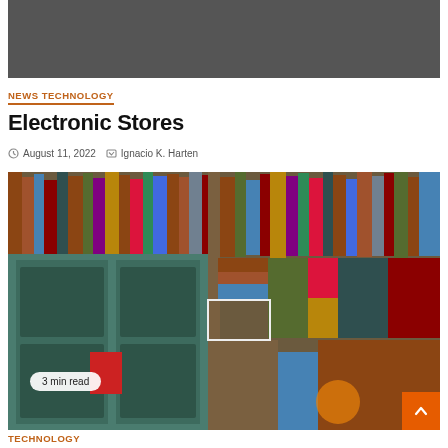[Figure (photo): Dark gray banner image at top of page (partially visible)]
NEWS TECHNOLOGY
Electronic Stores
August 11, 2022   Ignacio K. Harten
[Figure (photo): Photo of a wall and door covered with stacked books of various colors and sizes, with a '3 min read' badge overlay]
TECHNOLOGY